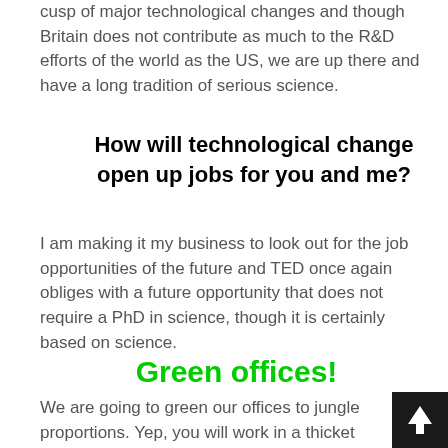cusp of major technological changes and though Britain does not contribute as much to the R&D efforts of the world as the US, we are up there and have a long tradition of serious science.
How will technological change open up jobs for you and me?
I am making it my business to look out for the job opportunities of the future and TED once again obliges with a future opportunity that does not require a PhD in science, though it is certainly based on science.
Green offices!
We are going to green our offices to jungle proportions.  Yep, you will work in a thicket and the last thing you will do every night before you